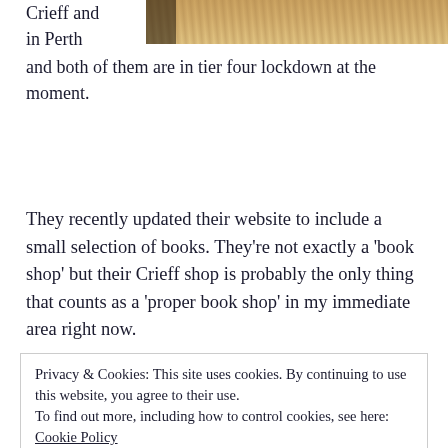Crieff and in Perth
[Figure (photo): Partial photo showing wooden surface and dark object, likely book or item in a shop, cropped at top of page]
and both of them are in tier four lockdown at the moment.
They recently updated their website to include a small selection of books. They're not exactly a 'book shop' but their Crieff shop is probably the only thing that counts as a 'proper book shop' in my immediate area right now.
Privacy & Cookies: This site uses cookies. By continuing to use this website, you agree to their use.
To find out more, including how to control cookies, see here: Cookie Policy
Close and accept
The second Jack Reusen book 'Jack Reusen and the Spark of